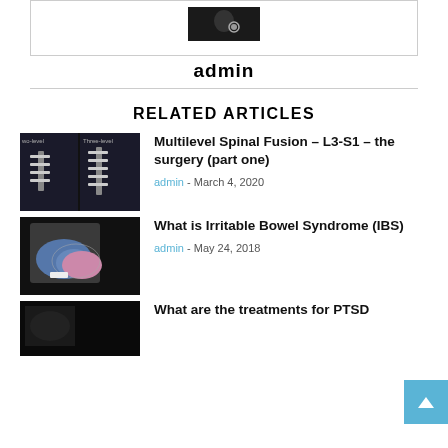[Figure (photo): Admin profile photo showing a person wearing dark clothing with a necklace]
admin
RELATED ARTICLES
[Figure (photo): X-ray image showing multilevel spinal fusion with hardware, comparing two-level and three-level fusion]
Multilevel Spinal Fusion – L3-S1 – the surgery (part one)
admin - March 4, 2020
[Figure (photo): Photo of a brain model (blue and pink) against a dark background, representing IBS topic]
What is Irritable Bowel Syndrome (IBS)
admin - May 24, 2018
[Figure (photo): Dark photo partially visible, related to PTSD article]
What are the treatments for PTSD